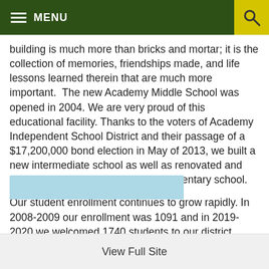MENU
building is much more than bricks and mortar; it is the collection of memories, friendships made, and life lessons learned therein that are much more important.  The new Academy Middle School was opened in 2004. We are very proud of this educational facility. Thanks to the voters of Academy Independent School District and their passage of a $17,200,000 bond election in May of 2013, we built a new intermediate school as well as renovated and added onto the high school and elementary school.
Our student enrollment continues to grow rapidly. In 2008-2009 our enrollment was 1091 and in 2019-2020 we welcomed 1740 students to our district. These are exciting times in our District's history, full of opportunity. STING 'EM BEES!
View Full Site